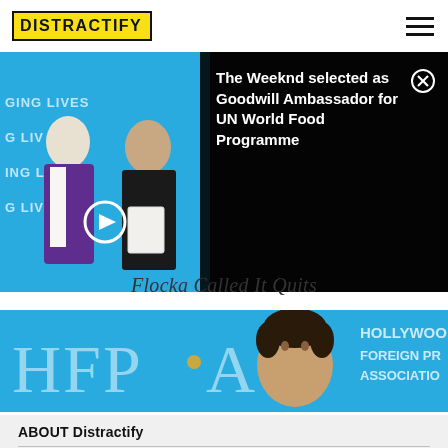DISTRACTIFY
[Figure (photo): Two men standing in front of a cyan banner with 'CHANGING LIVES' text — one in purple blazer, one in black coat holding a certificate, with a notification overlay reading 'The Weeknd selected as Goodwill Ambassador for UN World Food Programme']
The Weeknd selected as Goodwill Ambassador for UN World Food Programme
Flocka Called It Quits
[Figure (photo): HFPA (Hollywood Foreign Press Association) banner with a person in front of the blue backdrop. Text reads HFPA and HOLLYWOOD FOREIGN PRESS ASSOCIATION]
ABOUT Distractify